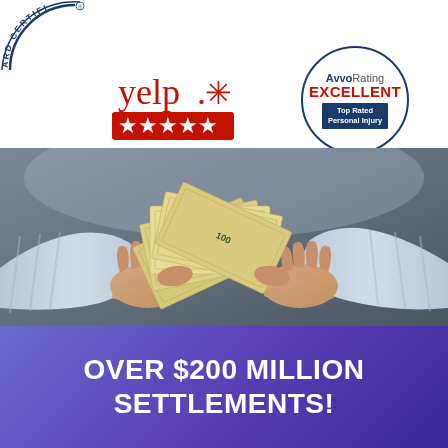[Figure (logo): Board Certified badge (partial arc at top-left corner)]
[Figure (logo): Yelp logo with 5-star red rating badge below]
[Figure (logo): Avvo Rating EXCELLENT badge - Top Rated Personal Injury, circular badge with navy border]
[Figure (photo): Person in light blue striped shirt counting fanned-out $100 bills with both hands, close-up photo on grey background]
OVER $200 MILLION SETTLEMENTS!